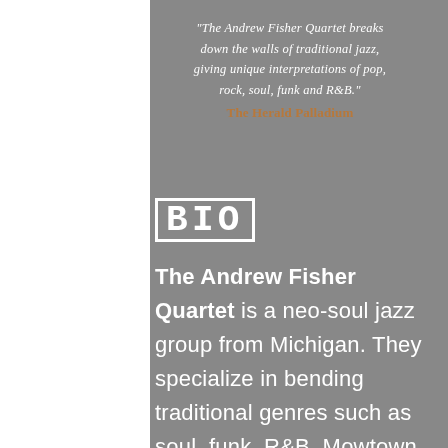"The Andrew Fisher Quartet breaks down the walls of traditional jazz, giving unique interpretations of pop, rock, soul, funk and R&B."
The Herald Palladium
BIO
The Andrew Fisher Quartet is a neo-soul jazz group from Michigan. They specialize in bending traditional genres such as soul, funk, R&B, Mowtown and more while using the language of improvisation and jazz. Since being formed in 2015,